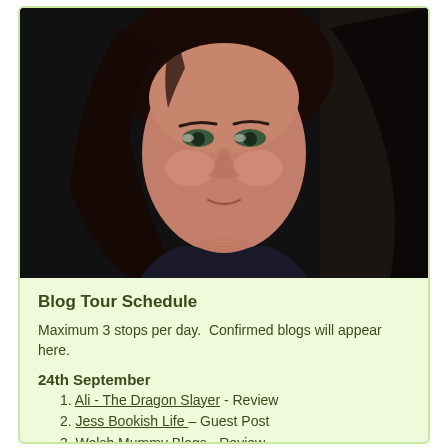[Figure (photo): Close-up photo of a woman with dark hair against a dark background]
Blog Tour Schedule
Maximum 3 stops per day.  Confirmed blogs will appear here.
24th September
1. Ali - The Dragon Slayer - Review
2. Jess Bookish Life - Guest Post
3. Welsh Mummy Blogs - Review
25th September
1. donnasbookblog - Review